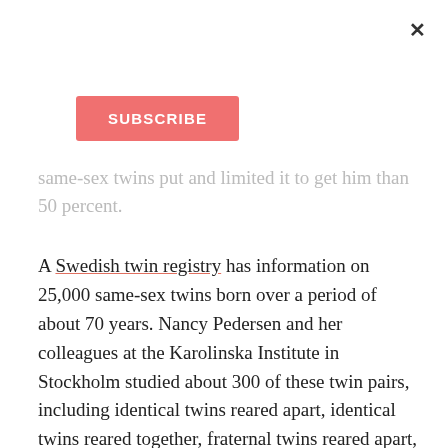[Figure (other): Close (X) button in top right corner of a modal overlay]
[Figure (other): Red subscribe button]
same-sex twins put and limited it to get him than 50 percent.
A Swedish twin registry has information on 25,000 same-sex twins born over a period of about 70 years. Nancy Pedersen and her colleagues at the Karolinska Institute in Stockholm studied about 300 of these twin pairs, including identical twins reared apart, identical twins reared together, fraternal twins reared apart, and fraternal twins reared together. They found that intelligence scores of identical twins who grew up apart (most having been separated by the time they were two years old)